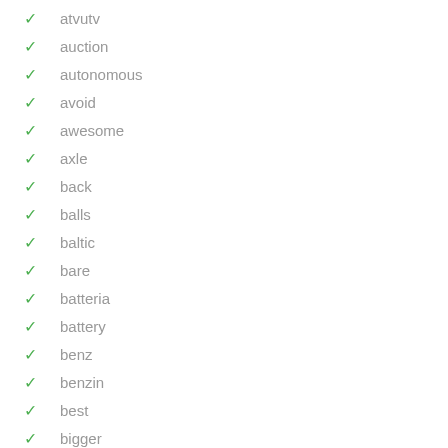atvutv
auction
autonomous
avoid
awesome
axle
back
balls
baltic
bare
batteria
battery
benz
benzin
best
bigger
black
bm18530